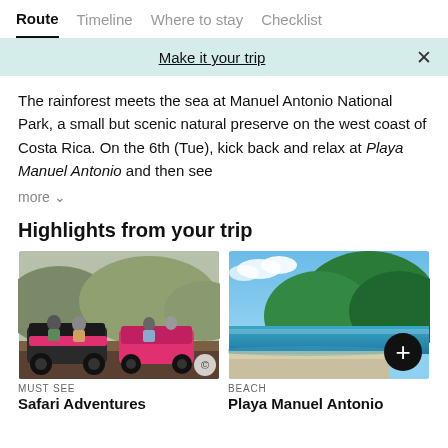Route | Timeline | Where to stay | Checklist
Make it your trip
The rainforest meets the sea at Manuel Antonio National Park, a small but scenic natural preserve on the west coast of Costa Rica. On the 6th (Tue), kick back and relax at Playa Manuel Antonio and then see
more
Highlights from your trip
[Figure (photo): Two pink ATVs/side-by-side vehicles with people riding on a gravel road with mountains and trees in background]
MUST SEE
Safari Adventures
[Figure (photo): Aerial view of a beach with turquoise water, sandy shore, and lush green forested headland with blue sky]
BEACH
Playa Manuel Antonio